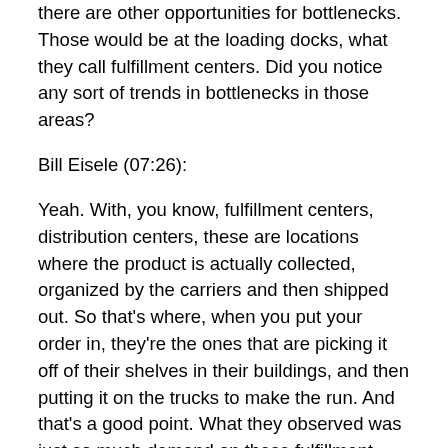there are other opportunities for bottlenecks. Those would be at the loading docks, what they call fulfillment centers. Did you notice any sort of trends in bottlenecks in those areas?
Bill Eisele (07:26):
Yeah. With, you know, fulfillment centers, distribution centers, these are locations where the product is actually collected, organized by the carriers and then shipped out. So that's where, when you put your order in, they're the ones that are picking it off of their shelves in their buildings, and then putting it on the trucks to make the run. And that's a good point. What they observed was just so much demand on these fulfillment centers and distribution centers and getting that product out. These people have to make the deliveries as promised. So what are they going to do? If the distribution centers aren't adequate,